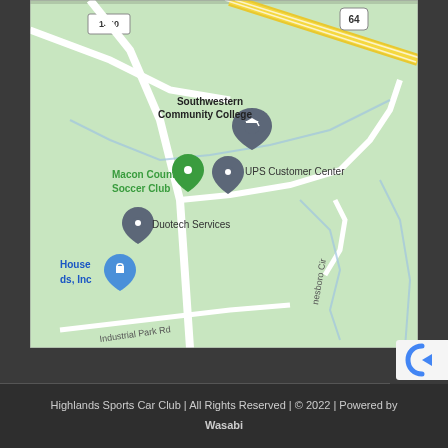[Figure (map): Google Maps screenshot showing area around Southwestern Community College, Macon County Soccer Club, UPS Customer Center, Duotech Services, and other landmarks. Shows roads including route 64, route 1440, Industrial Park Rd, and Nesboro Cir. Yellow highway visible at top.]
Highlands Sports Car Club | All Rights Reserved | © 2022 | Powered by Wasabi